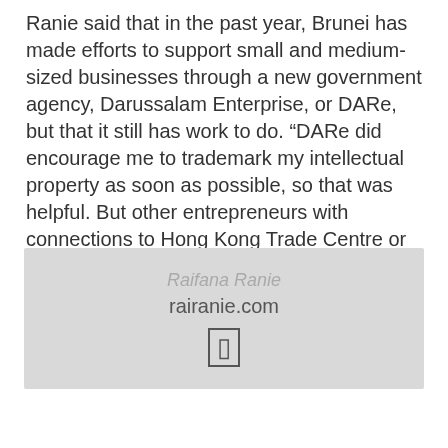Ranie said that in the past year, Brunei has made efforts to support small and medium-sized businesses through a new government agency, Darussalam Enterprise, or DARe, but that it still has work to do. “DARe did encourage me to trademark my intellectual property as soon as possible, so that was helpful. But other entrepreneurs with connections to Hong Kong Trade Centre or places like that in Malaysia have access to cheaper or better quality garment-makers or suppliers. We don’t have that in Brunei.”
[Figure (other): A grey card/box containing the name 'Raifana Ranie', the website 'rairanie.com', and a small icon resembling a mobile phone or similar symbol.]